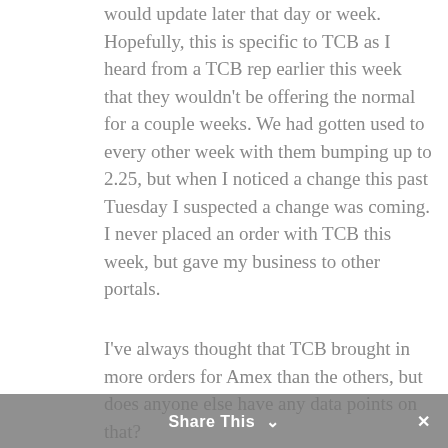would update later that day or week. Hopefully, this is specific to TCB as I heard from a TCB rep earlier this week that they wouldn't be offering the normal for a couple weeks. We had gotten used to every other week with them bumping up to 2.25, but when I noticed a change this past Tuesday I suspected a change was coming. I never placed an order with TCB this week, but gave my business to other portals.
I've always thought that TCB brought in more orders for Amex than the others, but does anyone else have any data points on that?
Share This ∨ ✕